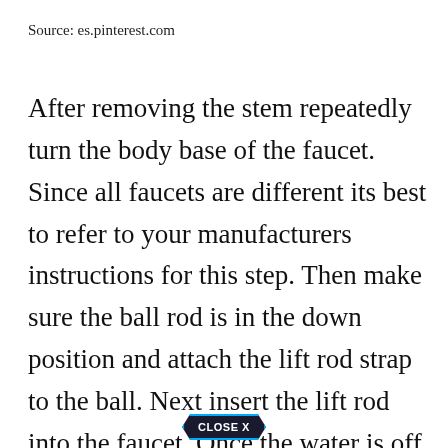Source: es.pinterest.com
After removing the stem repeatedly turn the body base of the faucet. Since all faucets are different its best to refer to your manufacturers instructions for this step. Then make sure the ball rod is in the down position and attach the lift rod strap to the ball. Next insert the lift rod into the faucet. Once the water is off turn on the faucet.